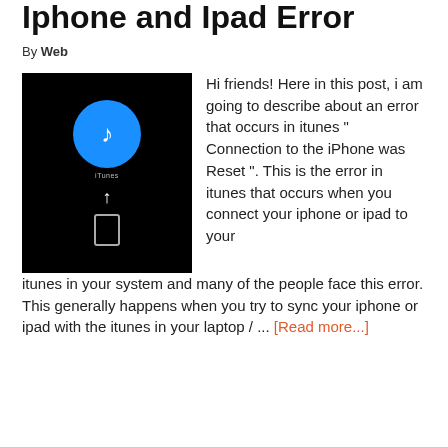If iPhone was Reset Iphone and Ipad Error
By Web
[Figure (screenshot): iTunes logo screen on a black background showing the iTunes music note icon in a blue circle, with 'iTunes' label below, a white upward arrow, and a phone/connector icon at the bottom.]
Hi friends! Here in this post, i am going to describe about an error that occurs in itunes " Connection to the iPhone was Reset ". This is the error in itunes that occurs when you connect your iphone or ipad to your itunes in your system and many of the people face this error. This generally happens when you try to sync your iphone or ipad with the itunes in your laptop / ... [Read more...]